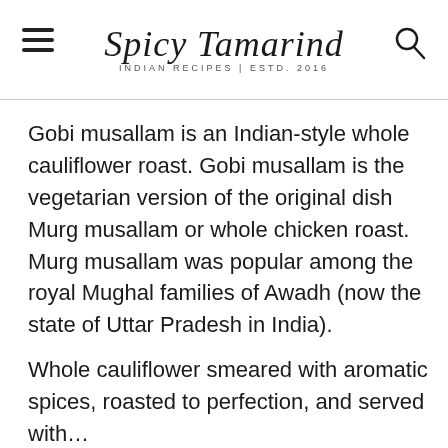Spicy Tamarind — INDIAN RECIPES | ESTD. 2016
Gobi musallam is an Indian-style whole cauliflower roast. Gobi musallam is the vegetarian version of the original dish Murg musallam or whole chicken roast. Murg musallam was popular among the royal Mughal families of Awadh (now the state of Uttar Pradesh in India).
Whole cauliflower smeared with aromatic spices, roasted to perfection, and served with...